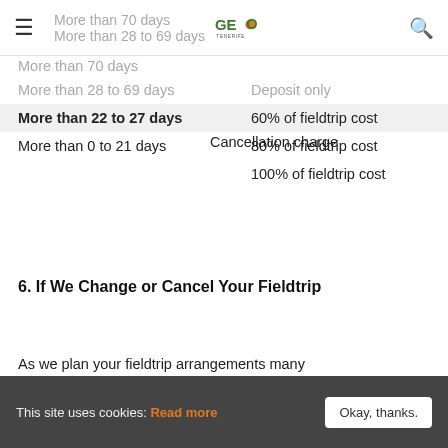More than 70 days  GEO TENERIFE  More than 28 to 69 days
| Period before departure | Cancellation charge |
| --- | --- |
| More than 70 days |  |
| More than 28 to 69 days | Deposit only |
| More than 22 to 27 days | 60% of fieldtrip cost |
| More than 0 to 21 days | 80% of fieldtrip cost |
|  | 100% of fieldtrip cost |
6. If We Change or Cancel Your Fieldtrip
As we plan your fieldtrip arrangements many